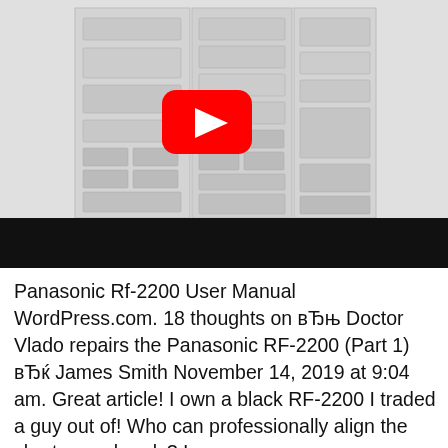[Figure (screenshot): YouTube video thumbnail showing an open refrigerator (multi-door style) with shelves and drawers visible, set against a light gray background. A red YouTube play button is overlaid in the center. Below the image is a black bar (video controls area).]
Panasonic Rf-2200 User Manual WordPress.com. 18 thoughts on вЂњ Doctor Vlado repairs the Panasonic RF-2200 (Part 1) вЂќ James Smith November 14, 2019 at 9:04 am. Great article! I own a black RF-2200 I traded a guy out of! Who can professionally align the short wave bands? I